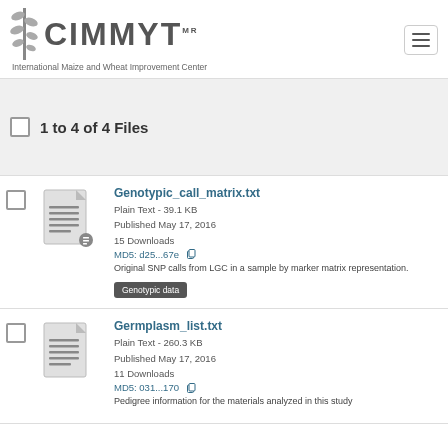CIMMYT - International Maize and Wheat Improvement Center
1 to 4 of 4 Files
Genotypic_call_matrix.txt
Plain Text - 39.1 KB
Published May 17, 2016
15 Downloads
MD5: d25...67e
Original SNP calls from LGC in a sample by marker matrix representation.
Genotypic data
Germplasm_list.txt
Plain Text - 260.3 KB
Published May 17, 2016
11 Downloads
MD5: 031...170
Pedigree information for the materials analyzed in this study